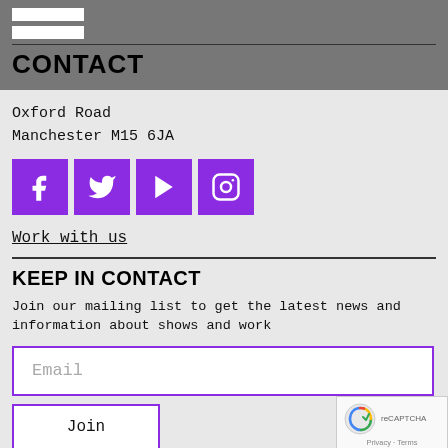CONTACT
Oxford Road
Manchester M15 6JA
[Figure (infographic): Four purple social media icons: Facebook, Twitter, YouTube, Instagram]
Work with us
KEEP IN CONTACT
Join our mailing list to get the latest news and information about shows and work
Email
Join